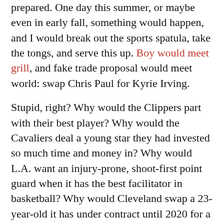prepared. One day this summer, or maybe even in early fall, something would happen, and I would break out the sports spatula, take the tongs, and serve this up. Boy would meet grill, and fake trade proposal would meet world: swap Chris Paul for Kyrie Irving.
Stupid, right? Why would the Clippers part with their best player? Why would the Cavaliers deal a young star they had invested so much time and money in? Why would L.A. want an injury-prone, shoot-first point guard when it has the best facilitator in basketball? Why would Cleveland swap a 23-year-old it has under contract until 2020 for a 30-year-old who can bolt in 2017? Why would Paul start over in Cleveland when being in Los Angeles has helped his national profile explode? Why would Irving not want to share the court with the best player alive, in a weak conference, for a young and rising championship...